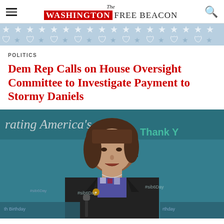The Washington Free Beacon
[Figure (illustration): Stars and silhouette decorative banner in light blue]
POLITICS
Dem Rep Calls on House Oversight Committee to Investigate Payment to Stormy Daniels
[Figure (photo): Woman in black jacket speaking at a podium in front of a teal banner reading 'celebrating America's...' and 'Thank You', with hashtag decorations]